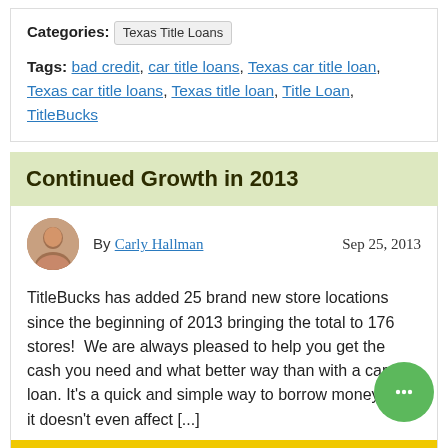Categories: Texas Title Loans
Tags: bad credit, car title loans, Texas car title loan, Texas car title loans, Texas title loan, Title Loan, TitleBucks
Continued Growth in 2013
By Carly Hallman   Sep 25, 2013
TitleBucks has added 25 brand new store locations since the beginning of 2013 bringing the total to 176 stores!  We are always pleased to help you get the cash you need and what better way than with a car title loan. It's a quick and simple way to borrow money and it doesn't even affect [...]
READ MORE